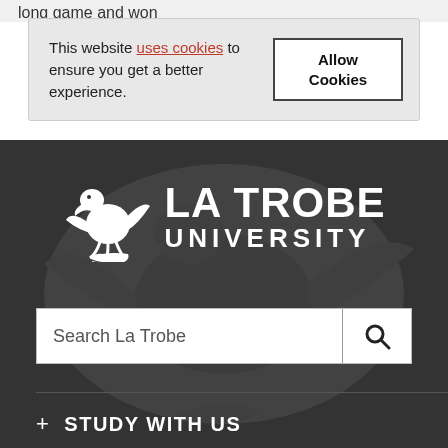long game and won
This website uses cookies to ensure you get a better experience.
Allow Cookies
[Figure (logo): La Trobe University logo with eagle/hawk bird and text LA TROBE UNIVERSITY]
Search La Trobe
+ STUDY WITH US
+ RESEARCH
+ INTERNATIONAL